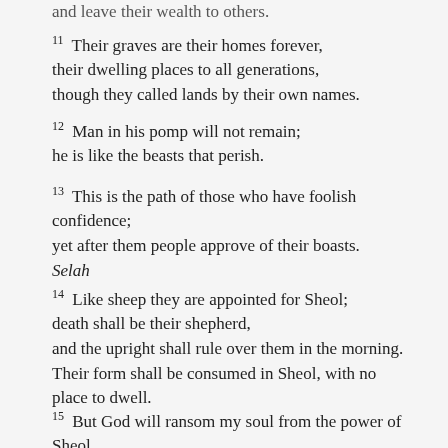and leave their wealth to others.
11 Their graves are their homes forever, their dwelling places to all generations, though they called lands by their own names.
12 Man in his pomp will not remain; he is like the beasts that perish.
13 This is the path of those who have foolish confidence; yet after them people approve of their boasts. Selah
14 Like sheep they are appointed for Sheol; death shall be their shepherd, and the upright shall rule over them in the morning. Their form shall be consumed in Sheol, with no place to dwell.
15 But God will ransom my soul from the power of Sheol,